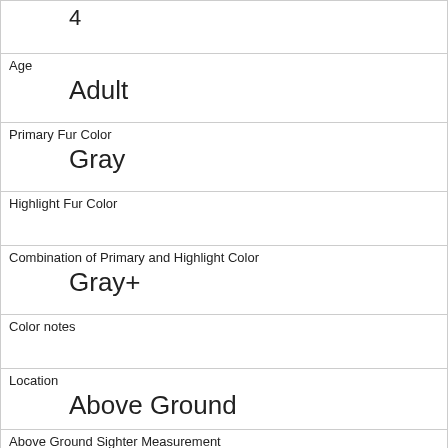| 4 |
| Age | Adult |
| Primary Fur Color | Gray |
| Highlight Fur Color |  |
| Combination of Primary and Highlight Color | Gray+ |
| Color notes |  |
| Location | Above Ground |
| Above Ground Sighter Measurement | 2 |
| Specific Location |  |
| Running | 1 |
| Chasing |  |